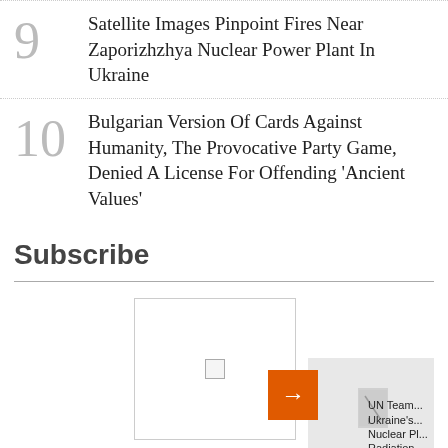9 Satellite Images Pinpoint Fires Near Zaporizhzhya Nuclear Power Plant In Ukraine
10 Bulgarian Version Of Cards Against Humanity, The Provocative Party Game, Denied A License For Offending 'Ancient Values'
Subscribe
[Figure (screenshot): Subscribe section with image carousel showing 'China In...' article card and a next card with 'UN Team... Ukraine's... Nuclear Pl... Radiation' text, with an orange arrow navigation button]
China In...
UN Team... Ukraine's... Nuclear Pl... Radiation